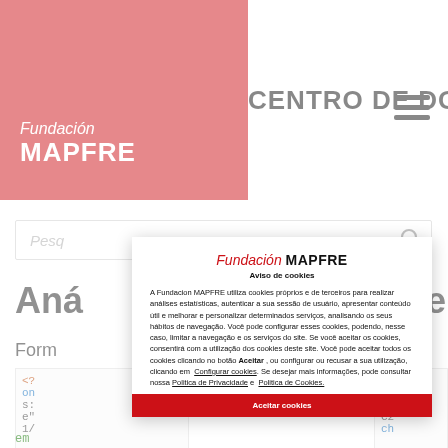[Figure (logo): Fundacion MAPFRE logo in white text on red background]
CENTRO DE DOCUMENTAÇÃO
[Figure (screenshot): Cookie consent modal overlay on Fundacion MAPFRE website showing logo, cookie notice text in Portuguese, links to Configurar cookies, Politica de Privacidade and Politica de Cookies, and Aceitar cookies button]
A Fundacion MAPFRE utiliza cookies próprios e de terceiros para realizar análises estatísticas, autenticar a sua sessão de usuário, apresentar conteúdo útil e melhorar e personalizar determinados serviços, analisando os seus hábitos de navegação. Você pode configurar esses cookies, podendo, nesse caso, limitar a navegação e os serviços do site. Se você aceitar os cookies, consentirá com a utilização dos cookies deste site. Você pode aceitar todos os cookies clicando no botão Aceitar , ou configurar ou recusar a sua utilização, clicando em Configurar cookies. Se desejar mais informações, pode consultar nossa Politica de Privacidade e Politica de Cookies.